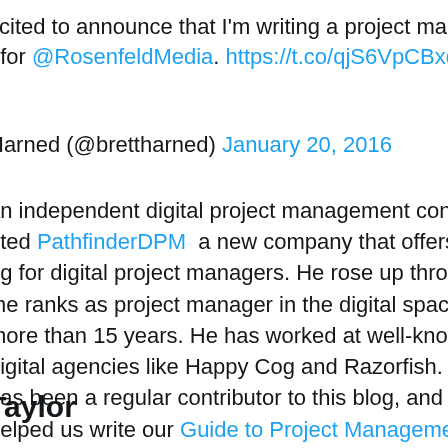xcited to announce that I'm writing a project management book for @RosenfeldMedia. https://t.co/qjS6VpCBxd
Harned (@brettharned) January 20, 2016
an independent digital project management consultant, he founded PathfinderDPM a new company that offers training for digital project managers. He rose up through the ranks as project manager in the digital space for more than 15 years. He has worked at well-known digital agencies like Happy Cog and Razorfish. Brett has been a regular contributor to this blog, and also helped us write the DPM Guide to Project Management.
Taylor